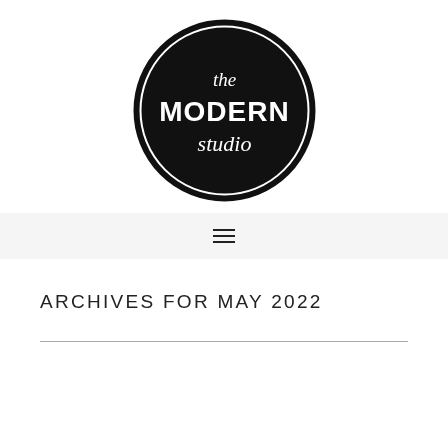[Figure (logo): Circular black logo with white text reading 'the MODERN studio']
≡
ARCHIVES FOR MAY 2022